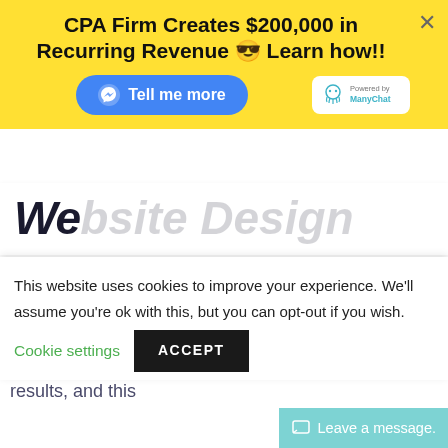[Figure (screenshot): Yellow promotional banner: 'CPA Firm Creates $200,000 in Recurring Revenue 😎 Learn how!!' with a blue 'Tell me more' messenger button and ManyChat powered badge. Close X button top right.]
We...
Designing a website requires a lot of technical know-how to get it spot-on. Furthermore, websites nowadays are designed to rank high in search results, and this
This website uses cookies to improve your experience. We'll assume you're ok with this, but you can opt-out if you wish.
Cookie settings  ACCEPT
Leave a message.